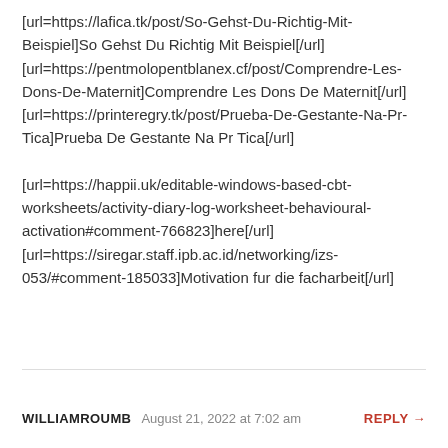[url=https://lafica.tk/post/So-Gehst-Du-Richtig-Mit-Beispiel]So Gehst Du Richtig Mit Beispiel[/url] [url=https://pentmolopentblanex.cf/post/Comprendre-Les-Dons-De-Maternit]Comprendre Les Dons De Maternit[/url] [url=https://printeregry.tk/post/Prueba-De-Gestante-Na-Pr-Tica]Prueba De Gestante Na Pr Tica[/url]

[url=https://happii.uk/editable-windows-based-cbt-worksheets/activity-diary-log-worksheet-behavioural-activation#comment-766823]here[/url] [url=https://siregar.staff.ipb.ac.id/networking/izs-053/#comment-185033]Motivation fur die facharbeit[/url]
WILLIAMROUMB
August 21, 2022 at 7:02 am
REPLY →